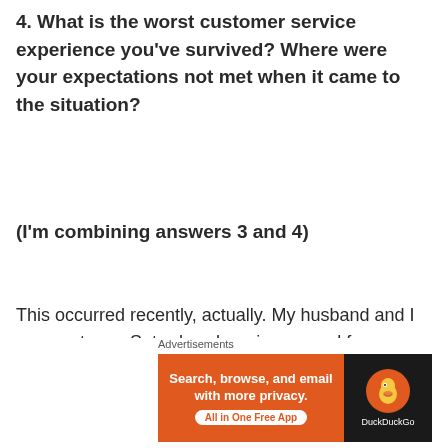4. What is the worst customer service experience you've survived?  Where were your expectations not met when it came to the situation?
(I'm combining answers 3 and 4)
This occurred recently, actually. My husband and I were out on a Saturday shopping around for a possible new car. Betty the Bucket – my old
Advertisements
[Figure (other): DuckDuckGo advertisement banner: orange left panel with text 'Search, browse, and email with more privacy. All in One Free App' and dark right panel with DuckDuckGo duck logo.]